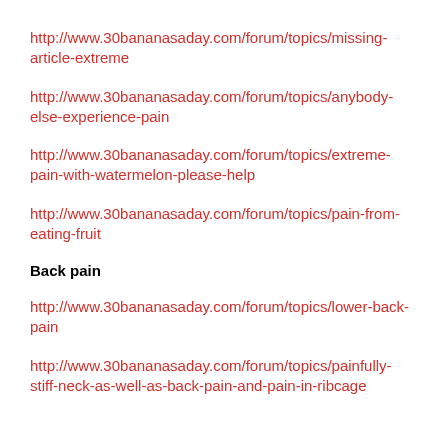http://www.30bananasaday.com/forum/topics/missing-article-extreme
http://www.30bananasaday.com/forum/topics/anybody-else-experience-pain
http://www.30bananasaday.com/forum/topics/extreme-pain-with-watermelon-please-help
http://www.30bananasaday.com/forum/topics/pain-from-eating-fruit
Back pain
http://www.30bananasaday.com/forum/topics/lower-back-pain
http://www.30bananasaday.com/forum/topics/painfully-stiff-neck-as-well-as-back-pain-and-pain-in-ribcage